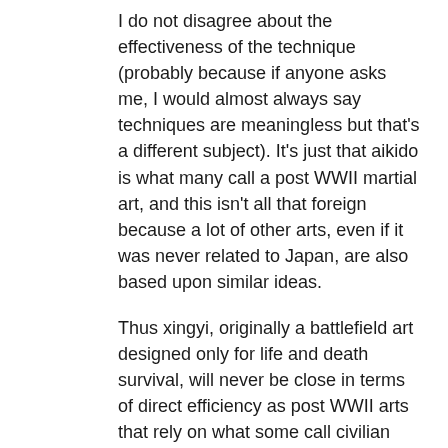I do not disagree about the effectiveness of the technique (probably because if anyone asks me, I would almost always say techniques are meaningless but that's a different subject). It's just that aikido is what many call a post WWII martial art, and this isn't all that foreign because a lot of other arts, even if it was never related to Japan, are also based upon similar ideas.
Thus xingyi, originally a battlefield art designed only for life and death survival, will never be close in terms of direct efficiency as post WWII arts that rely on what some call civilian self defense or just non-military based non-fatal goals.
This is complicated by the fact that Morihei Ueshiba's aikido is only one variant, with the other being Yoshinkan, and both have disagreements concerning how much of the aikijutsu stuff "should" or should not have been left alone.
So I can definitely see the use to which arts,